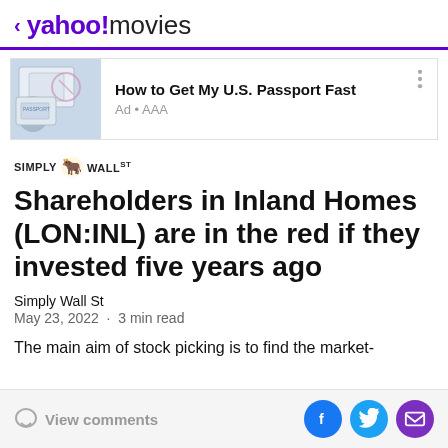< yahoo!movies
[Figure (screenshot): Advertisement banner showing passport pages image with text 'How to Get My U.S. Passport Fast' and 'Ad • AAA']
[Figure (logo): Simply Wall St logo with bull icon]
Shareholders in Inland Homes (LON:INL) are in the red if they invested five years ago
Simply Wall St
May 23, 2022 · 3 min read
The main aim of stock picking is to find the market-
View comments